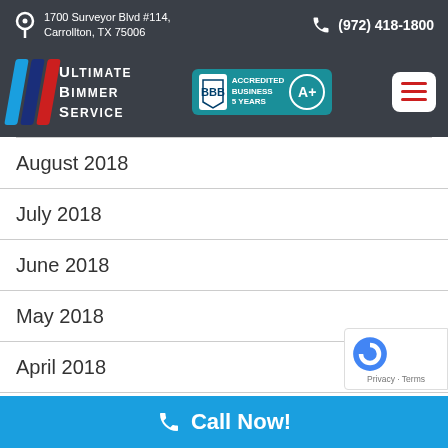1700 Surveyor Blvd #114, Carrollton, TX 75006 | (972) 418-1800
[Figure (logo): Ultimate Bimmer Service logo with blue, dark blue and red stripes, BBB Accredited Business 5 Years badge with A+ rating, and hamburger menu button]
August 2018
July 2018
June 2018
May 2018
April 2018
Call Now!